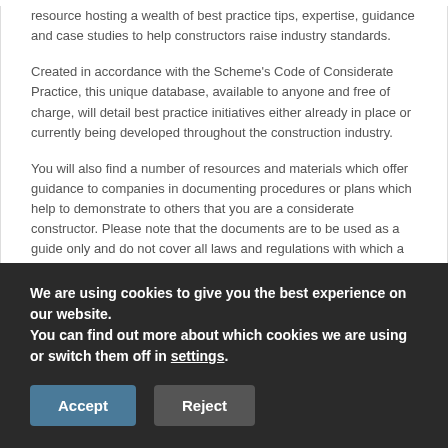resource hosting a wealth of best practice tips, expertise, guidance and case studies to help constructors raise industry standards.
Created in accordance with the Scheme's Code of Considerate Practice, this unique database, available to anyone and free of charge, will detail best practice initiatives either already in place or currently being developed throughout the construction industry.
You will also find a number of resources and materials which offer guidance to companies in documenting procedures or plans which help to demonstrate to others that you are a considerate constructor. Please note that the documents are to be used as a guide only and do not cover all laws and regulations with which a contractor has to comply with under legislation.
Best Practice Hub
We are using cookies to give you the best experience on our website.
You can find out more about which cookies we are using or switch them off in settings.
Accept
Reject